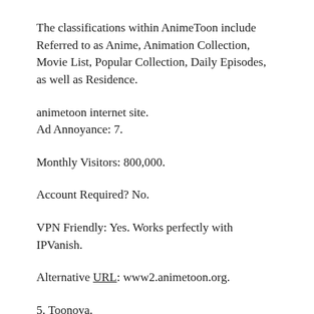The classifications within AnimeToon include Referred to as Anime, Animation Collection, Movie List, Popular Collection, Daily Episodes, as well as Residence.
animetoon internet site.
Ad Annoyance: 7.
Monthly Visitors: 800,000.
Account Required? No.
VPN Friendly: Yes. Works perfectly with IPVanish.
Alternative URL: www2.animetoon.org.
5. Toonova.
Toonova is a basic web site that holds hundreds of